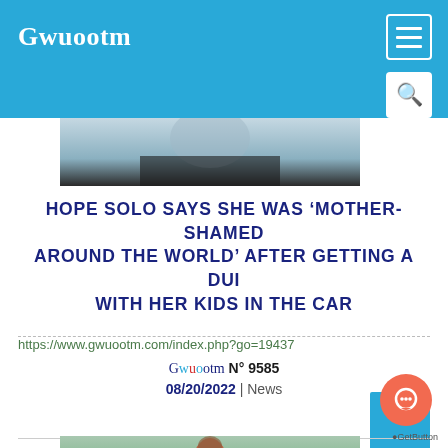Gwuootm
[Figure (photo): Partial photo of a person, cropped at the top of the page]
HOPE SOLO SAYS SHE WAS 'MOTHER-SHAMED AROUND THE WORLD' AFTER GETTING A DUI WITH HER KIDS IN THE CAR
https://www.gwuootm.com/index.php?go=19437
Gwuootm N° 9585 08/20/2022 | News
[Figure (photo): Photo of a child in a red shirt standing outdoors with trees in the background]